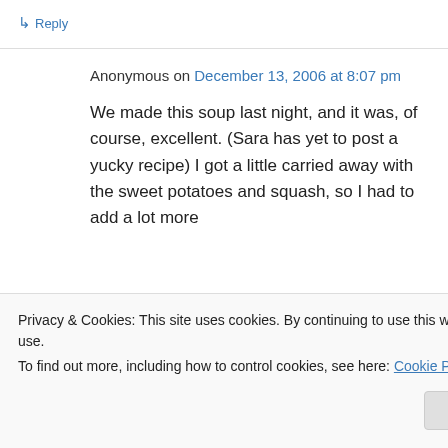↳ Reply
Anonymous on December 13, 2006 at 8:07 pm
We made this soup last night, and it was, of course, excellent. (Sara has yet to post a yucky recipe) I got a little carried away with the sweet potatoes and squash, so I had to add a lot more
Privacy & Cookies: This site uses cookies. By continuing to use this website, you agree to their use.
To find out more, including how to control cookies, see here: Cookie Policy
Close and accept
while! Oh well– still tasty!